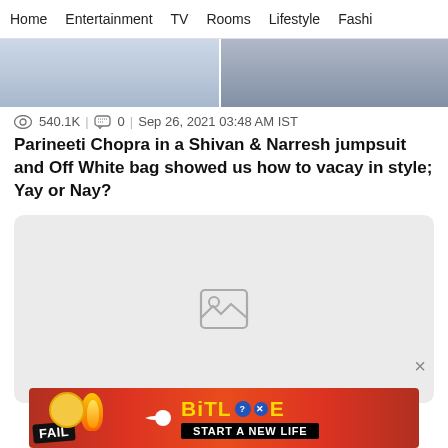Home | Entertainment | TV | Rooms | Lifestyle | Fashi
[Figure (photo): Cropped photo strip showing two people in light-coloured shirts/outfits, split into two panels]
540.1K | 0 | Sep 26, 2021 03:48 AM IST
Parineeti Chopra in a Shivan & Narresh jumpsuit and Off White bag showed us how to vacay in style; Yay or Nay?
[Figure (photo): Image placeholder with broken image icon on light grey rounded rectangle background]
[Figure (screenshot): Advertisement banner for BitLife game showing FAIL text, cartoon character, flames, BitLife logo, and START A NEW LIFE text on red background]